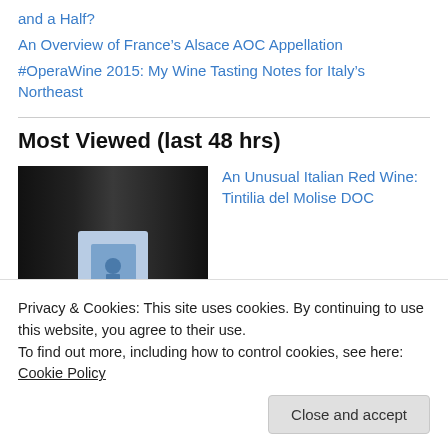and a Half?
An Overview of France's Alsace AOC Appellation
#OperaWine 2015: My Wine Tasting Notes for Italy's Northeast
Most Viewed (last 48 hrs)
[Figure (photo): Dark wine bottle with blue label]
An Unusual Italian Red Wine: Tintilia del Molise DOC
[Figure (photo): Close-up of animal or food, brown tones]
Ever Heard of a Sik-Sik?...
Privacy & Cookies: This site uses cookies. By continuing to use this website, you agree to their use.
To find out more, including how to control cookies, see here: Cookie Policy
Close and accept